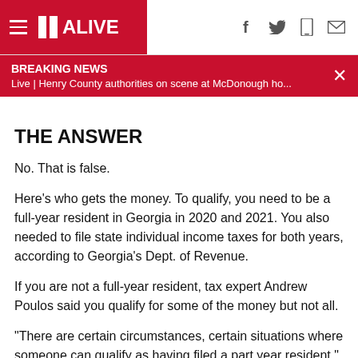11 ALIVE — Breaking News: Live | Henry County authorities on scene at McDonough ho...
THE ANSWER
No. That is false.
Here's who gets the money. To qualify, you need to be a full-year resident in Georgia in 2020 and 2021. You also needed to file state individual income taxes for both years, according to Georgia's Dept. of Revenue.
If you are not a full-year resident, tax expert Andrew Poulos said you qualify for some of the money but not all.
"There are certain circumstances, certain situations where someone can qualify as having filed a part year resident,"